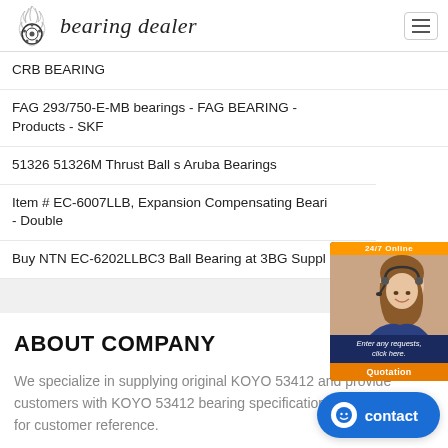[Figure (logo): Bearing dealer logo with flame bearing icon and italic text 'bearing dealer']
CRB BEARING
FAG 293/750-E-MB bearings - FAG BEARING - Products - SKF
51326 51326M Thrust Ball s Aruba Bearings
Item # EC-6007LLB, Expansion Compensating Bearing - Double
Buy NTN EC-6202LLBC3 Ball Bearing at 3BG Suppl
[Figure (photo): 24/7 Online chat widget with woman wearing headset, text 'Enter any requests, click here.' and orange Quotation button]
ABOUT COMPANY
We specialize in supplying original KOYO 53412 and provide customers with KOYO 53412 bearing specifications and drawings for customer reference.
[Figure (other): Blue contact chat button with smiley icon and text 'contact']